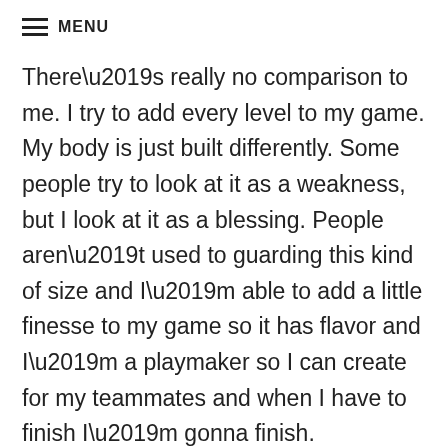MENU
There’s really no comparison to me. I try to add every level to my game. My body is just built differently. Some people try to look at it as a weakness, but I look at it as a blessing. People aren’t used to guarding this kind of size and I’m able to add a little finesse to my game so it has flavor and I’m a playmaker so I can create for my teammates and when I have to finish I’m gonna finish.
My advice would be, if you love the sport, just play it.